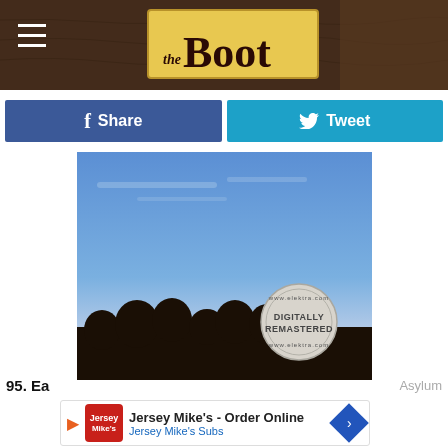[Figure (logo): The Boot website header with logo on textured leather background and hamburger menu]
[Figure (other): Facebook Share button (dark blue) and Twitter Tweet button (cyan blue)]
[Figure (photo): Album cover showing silhouettes of people against a blue sky at dusk/dawn with a Digitally Remastered sticker]
Asylum
95. Ea
[Figure (other): Jersey Mike's advertisement banner: Jersey Mikes - Order Online, Jersey Mike's Subs]